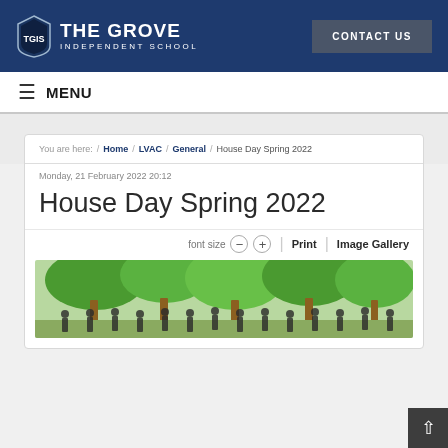[Figure (logo): The Grove Independent School shield logo with school name]
CONTACT US
≡ MENU
You are here: / Home / LVAC / General / House Day Spring 2022
Monday, 21 February 2022 20:12
House Day Spring 2022
font size  −  +  |  Print  |  Image Gallery
[Figure (photo): Group of students and staff standing in front of a colourful painted mural of trees]